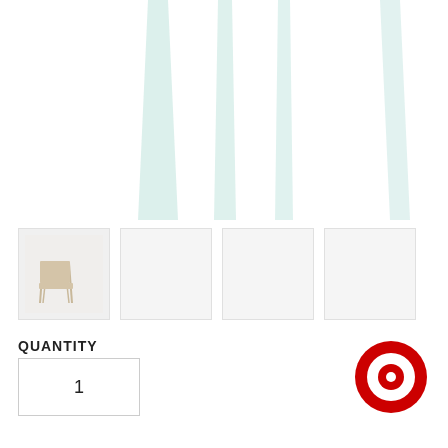[Figure (photo): Close-up of white chair legs from below, showing four tapered white metal/wood legs against white background]
[Figure (photo): Thumbnail row of four product images: first shows full chair with natural wood seat and back on white legs, remaining three are mostly white/blank]
QUANTITY
1
[Figure (logo): Target red bullseye logo]